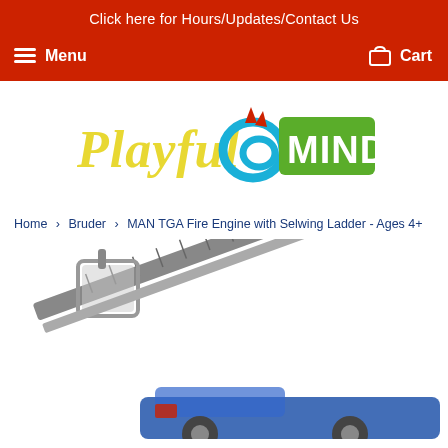Click here for Hours/Updates/Contact Us
Menu   Cart
[Figure (logo): Playful Minds logo with colorful text and spiral graphic]
Home › Bruder › MAN TGA Fire Engine with Selwing Ladder - Ages 4+
[Figure (photo): Close-up photo of a Bruder MAN TGA Fire Engine toy with an extended aerial ladder/selwing ladder, shown in gray and blue colors]